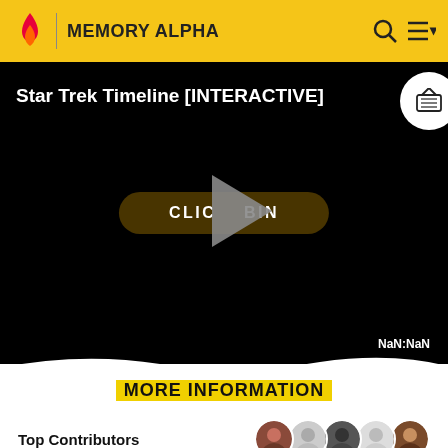MEMORY ALPHA
[Figure (screenshot): Video player with title 'Star Trek Timeline [INTERACTIVE]', a play button overlay, a 'CLICK TO BEGIN' button, NaN:NaN timestamp, and a TV icon in top right circle]
MORE INFORMATION
Top Contributors
Categories